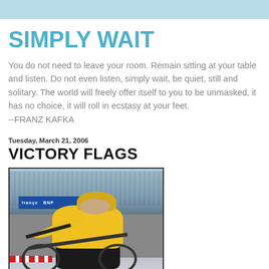SIMPLY WAIT
You do not need to leave your room. Remain sitting at your table and listen. Do not even listen, simply wait, be quiet, still and solitary. The world will freely offer itself to you to be unmasked, it has no choice, it will roll in ecstasy at your feet. --FRANZ KAFKA
Tuesday, March 21, 2006
VICTORY FLAGS
[Figure (photo): Cyclist wearing yellow jersey racing on a bicycle, crowd visible in background with France race banners]